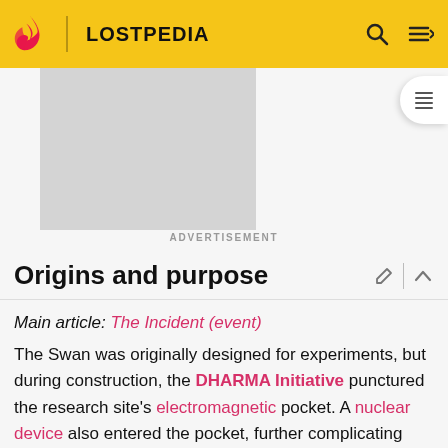LOSTPEDIA
[Figure (other): Advertisement placeholder - gray rectangle]
ADVERTISEMENT
Origins and purpose
Main article: The Incident (event)
The Swan was originally designed for experiments, but during construction, the DHARMA Initiative punctured the research site's electromagnetic pocket. A nuclear device also entered the pocket, further complicating matters. Following this incident, an electrical charge continuously